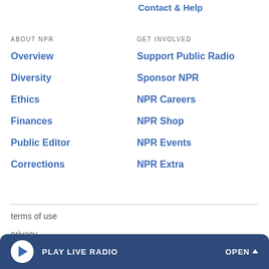Contact & Help
ABOUT NPR
GET INVOLVED
Overview
Support Public Radio
Diversity
Sponsor NPR
Ethics
NPR Careers
Finances
NPR Shop
Public Editor
NPR Events
Corrections
NPR Extra
terms of use
privacy
PLAY LIVE RADIO    OPEN